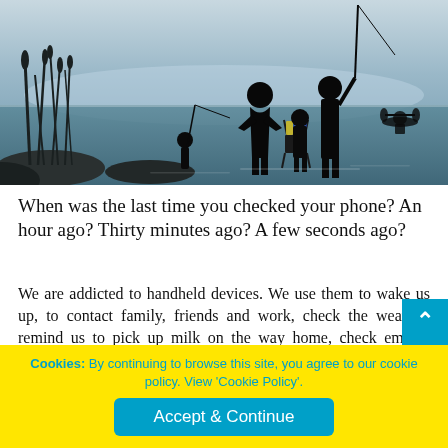[Figure (photo): Silhouette of a family fishing at the water's edge at dusk — two adults and a child standing, one child wading in the water in the background, fishing rods extended, a folding chair visible, and a person on a kayak in the far background.]
When was the last time you checked your phone? An hour ago? Thirty minutes ago? A few seconds ago?
We are addicted to handheld devices. We use them to wake us up, to contact family, friends and work, check the weather, remind us to pick up milk on the way home, check emails, Google phone numbers for restaurants, purchase gifts… you might even book your detox holiday on one.
Cookies: By continuing to browse this site, you agree to our cookie policy. View 'Cookie Policy'.
Accept & Continue